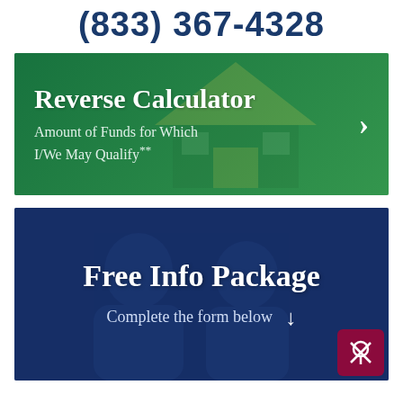(833) 367-4328
[Figure (infographic): Green banner with house silhouette background showing 'Reverse Calculator' title and subtitle 'Amount of Funds for Which I/We May Qualify**' with a right-pointing arrow]
[Figure (infographic): Dark blue banner with two smiling people in background showing 'Free Info Package' title and 'Complete the form below' with a downward arrow]
[Figure (logo): Dark maroon/burgundy square badge with a location pin icon crossed out, bottom right corner]